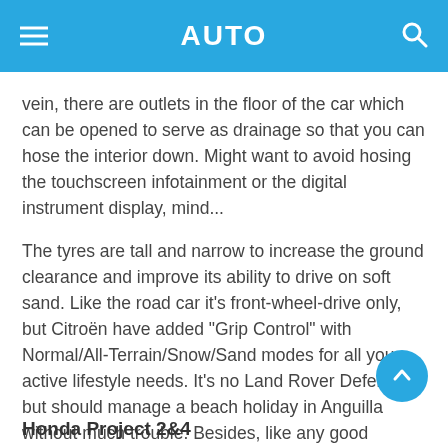AUTO
vein, there are outlets in the floor of the car which can be opened to serve as drainage so that you can hose the interior down. Might want to avoid hosing the touchscreen infotainment or the digital instrument display, mind...
The tyres are tall and narrow to increase the ground clearance and improve its ability to drive on soft sand. Like the road car it's front-wheel-drive only, but Citroën have added "Grip Control" with Normal/All-Terrain/Snow/Sand modes for all your active lifestyle needs. It's no Land Rover Defender, but should manage a beach holiday in Anguilla without much trouble. Besides, like any good Citroën, it's just funky and different. That's what the car world needs.
Honda Project 2&4